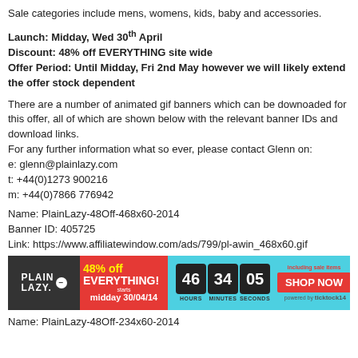Sale categories include mens, womens, kids, baby and accessories.
Launch: Midday, Wed 30th April
Discount: 48% off EVERYTHING site wide
Offer Period: Until Midday, Fri 2nd May however we will likely extend the offer stock dependent
There are a number of animated gif banners which can be downloaded for this offer, all of which are shown below with the relevant banner IDs and download links.
For any further information what so ever, please contact Glenn on:
e: glenn@plainlazy.com
t: +44(0)1273 900216
m: +44(0)7866 776942
Name: PlainLazy-48Off-468x60-2014
Banner ID: 405725
Link: https://www.affiliatewindow.com/ads/799/pl-awin_468x60.gif
[Figure (infographic): Animated banner ad for PlainLazy 48% off sale: dark left panel with PlainLazy logo, red panel with '48% off EVERYTHING! starts midday 30/04/14', countdown timer showing 46 hours 34 minutes 05 seconds, and red SHOP NOW button on teal background, powered by ticktock14]
Name: PlainLazy-48Off-234x60-2014